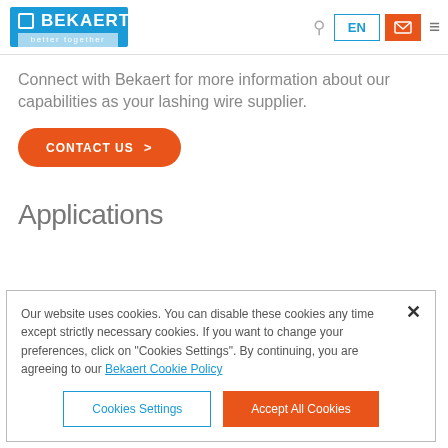BEKAERT better together
Connect with Bekaert for more information about our capabilities as your lashing wire supplier.
[Figure (other): Orange rounded rectangle button labeled CONTACT US with right arrow]
Applications
Our website uses cookies. You can disable these cookies any time except strictly necessary cookies. If you want to change your preferences, click on "Cookies Settings". By continuing, you are agreeing to our Bekaert Cookie Policy
[Figure (other): Cookies Settings button (outlined) and Accept All Cookies button (orange fill)]